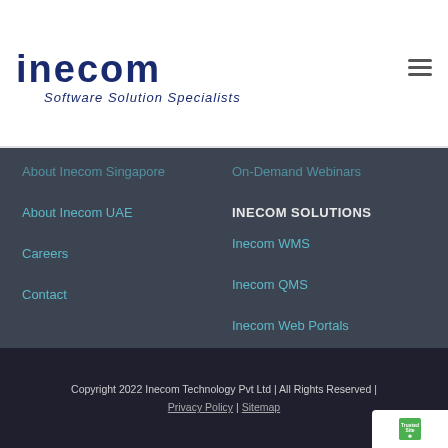[Figure (logo): Inecom logo with text 'inecom' in navy blue and tagline 'Software Solution Specialists' in italic navy blue]
About Inecom Singapore
About Inecom UAE
Careers
Contact
On-Demand Webinars
INECOM SOLUTIONS
Inecom WMS
Inecom QMS
Inecom Web Portals
Infrastructure Solution
Copyright 2022 Inecom Technology Pvt Ltd | All Rights Reserved | Privacy Policy | Sitemap